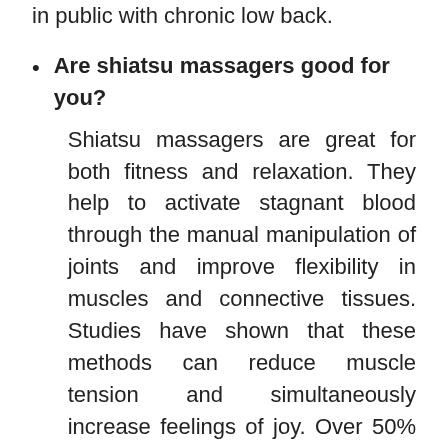in public with chronic low back.
Are shiatsu massagers good for you?
Shiatsu massagers are great for both fitness and relaxation. They help to activate stagnant blood through the manual manipulation of joints and improve flexibility in muscles and connective tissues. Studies have shown that these methods can reduce muscle tension and simultaneously increase feelings of joy. Over 50% of participants report improvements in mood after a single session-- all while improving circulation, range of motion, alleviating pain, and releasing tightness!